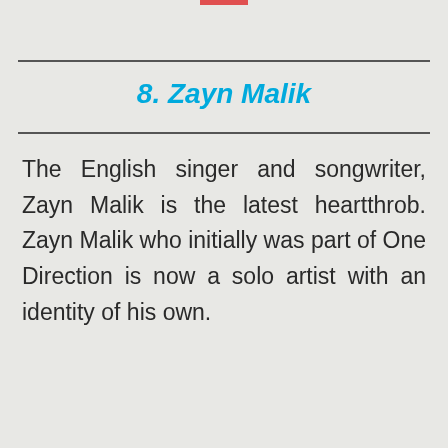8. Zayn Malik
The English singer and songwriter, Zayn Malik is the latest heartthrob. Zayn Malik who initially was part of One Direction is now a solo artist with an identity of his own.